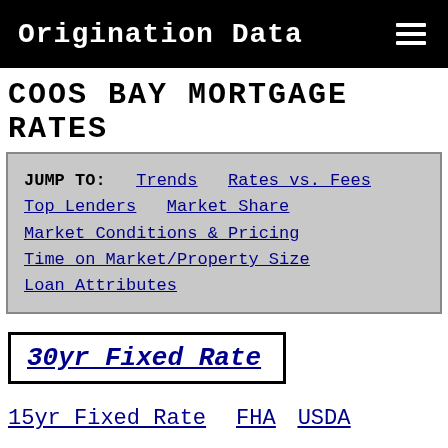Origination Data
COOS BAY MORTGAGE RATES
JUMP TO: Trends  Rates vs. Fees  Top Lenders  Market Share  Market Conditions & Pricing  Time on Market/Property Size  Loan Attributes
30yr Fixed Rate
15yr Fixed Rate   FHA   USDA